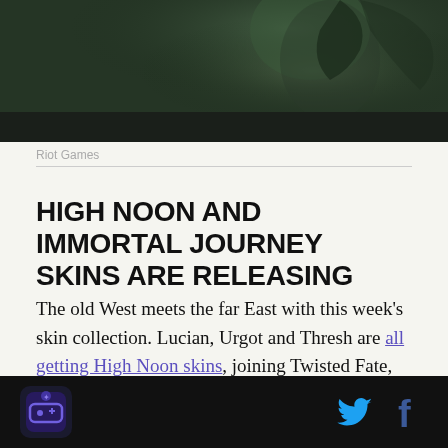[Figure (photo): Dark atmospheric fantasy image showing a figure with hand raised near head against a moody green-tinted background]
Riot Games
HIGH NOON AND IMMORTAL JOURNEY SKINS ARE RELEASING
The old West meets the far East with this week’s skin collection. Lucian, Urgot and Thresh are all getting High Noon skins, joining Twisted Fate, Jhin and Yasuo, while Irelia and Talon will get new Immortal Journey skins. While these new High Noon skins will look familiar to most players they’ve definitely got a